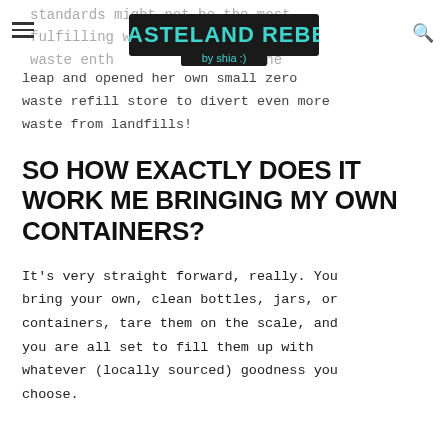Wasteland Rebel by shia :)
standards might not be the most fulfilling work, but for a zero waste enthusiast, So Lo took the leap and opened her own small zero waste refill store to divert even more waste from landfills!
SO HOW EXACTLY DOES IT WORK ME BRINGING MY OWN CONTAINERS?
It's very straight forward, really. You bring your own, clean bottles, jars, or containers, tare them on the scale, and you are all set to fill them up with whatever (locally sourced) goodness you choose.